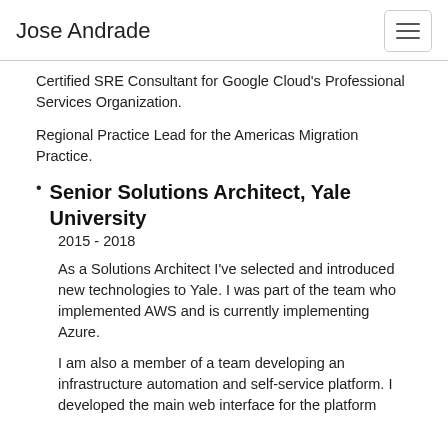Jose Andrade
Certified SRE Consultant for Google Cloud's Professional Services Organization.
Regional Practice Lead for the Americas Migration Practice.
Senior Solutions Architect, Yale University
2015 - 2018
As a Solutions Architect I've selected and introduced new technologies to Yale. I was part of the team who implemented AWS and is currently implementing Azure.
I am also a member of a team developing an infrastructure automation and self-service platform. I developed the main web interface for the platform